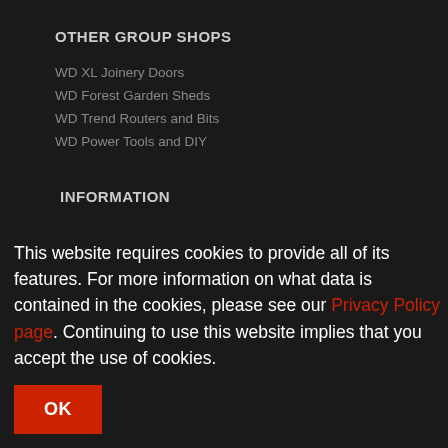OTHER GROUP SHOPS
WD XL Joinery Doors
WD Forest Garden Sheds
WD Trend Routers and Bits
WD Power Tools and DIY
INFORMATION
Terms and Conditions
Privacy Policy 2022
Delivery and Returns
Contact Us
KNOWLEDGE BASE
This website requires cookies to provide all of its features. For more information on what data is contained in the cookies, please see our Privacy Policy page. Continuing to use this website implies that you accept the use of cookies.
OK